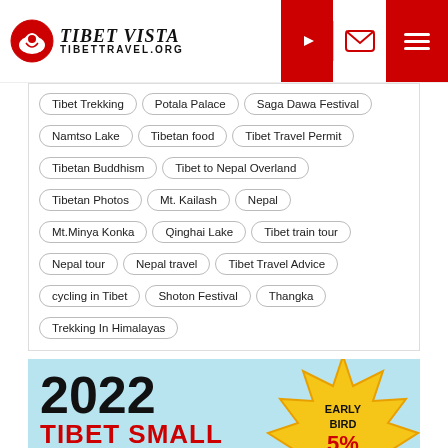Tibet Vista — TIBETTRAVEL.ORG
Tibet Trekking
Potala Palace
Saga Dawa Festival
Namtso Lake
Tibetan food
Tibet Travel Permit
Tibetan Buddhism
Tibet to Nepal Overland
Tibetan Photos
Mt. Kailash
Nepal
Mt.Minya Konka
Qinghai Lake
Tibet train tour
Nepal tour
Nepal travel
Tibet Travel Advice
cycling in Tibet
Shoton Festival
Thangka
Trekking In Himalayas
[Figure (infographic): 2022 Tibet Small Group Tour early bird 5% off promotional banner with yellow starburst badge]